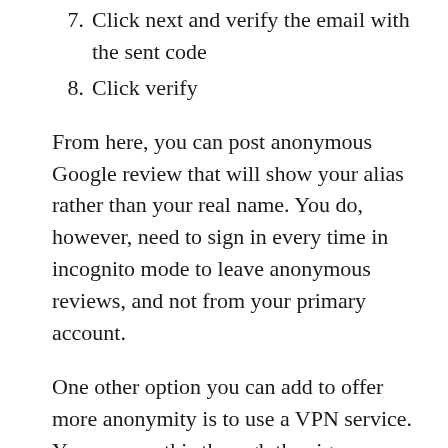7. Click next and verify the email with the sent code
8. Click verify
From here, you can post anonymous Google review that will show your alias rather than your real name. You do, however, need to sign in every time in incognito mode to leave anonymous reviews, and not from your primary account.
One other option you can add to offer more anonymity is to use a VPN service. You can use this through the sign-up process, so the Google sign up procedure will think you are in a different location, as well as leave your anonymous reviews.